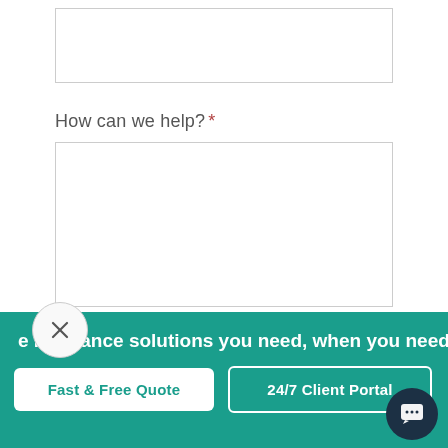[Figure (screenshot): Empty text input box at top of form]
How can we help?  *
[Figure (screenshot): Large textarea input box for user message]
Coverage will not be bound or changed until confirmed by a licensed agent.
e insurance solutions you need, when you need
Fast & Free Quote
24/7 Client Portal